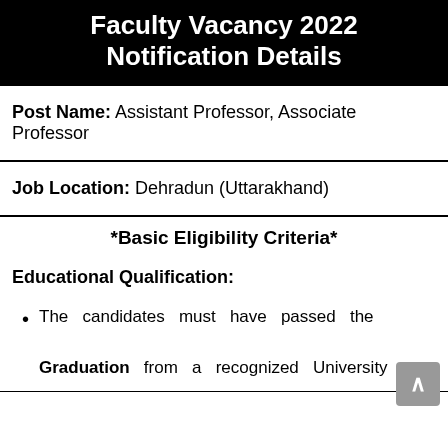Faculty Vacancy 2022 Notification Details
Post Name: Assistant Professor, Associate Professor
Job Location: Dehradun (Uttarakhand)
*Basic Eligibility Criteria*
Educational Qualification:
The candidates must have passed the Graduation from a recognized University or